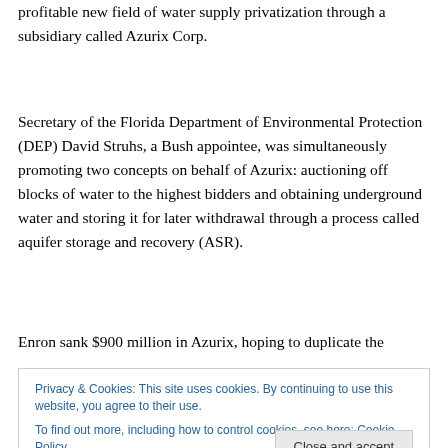profitable new field of water supply privatization through a subsidiary called Azurix Corp.
Secretary of the Florida Department of Environmental Protection (DEP) David Struhs, a Bush appointee, was simultaneously promoting two concepts on behalf of Azurix: auctioning off blocks of water to the highest bidders and obtaining underground water and storing it for later withdrawal through a process called aquifer storage and recovery (ASR).
Enron sank $900 million in Azurix, hoping to duplicate the
Privacy & Cookies: This site uses cookies. By continuing to use this website, you agree to their use.
To find out more, including how to control cookies, see here: Cookie Policy